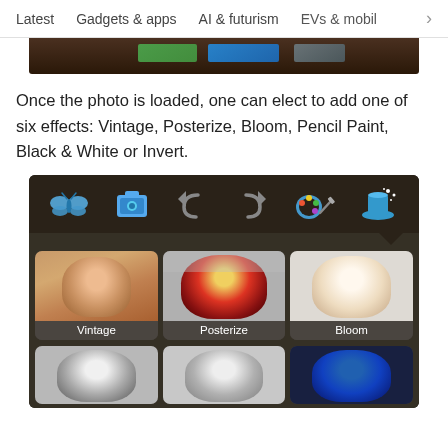Latest  Gadgets & apps  AI & futurism  EVs & mobil  >
[Figure (screenshot): Partial screenshot of an app showing a toolbar at the top]
Once the photo is loaded, one can elect to add one of six effects: Vintage, Posterize, Bloom, Pencil Paint, Black & White or Invert.
[Figure (screenshot): App screenshot showing a dark toolbar with icons (butterfly, camera, undo, redo, paint palette, magic hat) and a grid of photo effect thumbnails labeled Vintage, Posterize, Bloom in the first row, and partially visible second row.]